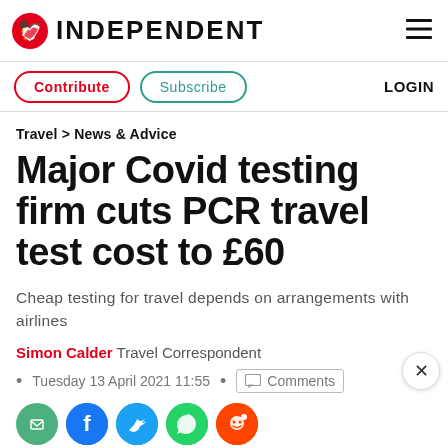INDEPENDENT
Contribute  Subscribe  LOGIN
Travel > News & Advice
Major Covid testing firm cuts PCR travel test cost to £60
Cheap testing for travel depends on arrangements with airlines
Simon Calder  Travel Correspondent
Tuesday 13 April 2021 11:55  •  Comments